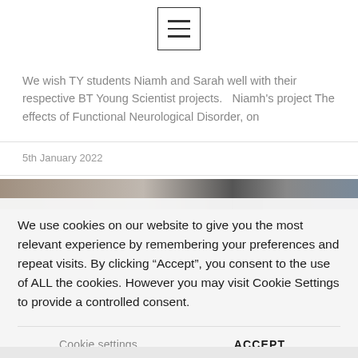[Figure (screenshot): Hamburger menu icon (three horizontal lines) inside a square border, used as a navigation toggle button]
We wish TY students Niamh and Sarah well with their respective BT Young Scientist projects.   Niamh's project The effects of Functional Neurological Disorder, on
5th January 2022
[Figure (photo): Partial photo strip visible behind cookie consent overlay]
We use cookies on our website to give you the most relevant experience by remembering your preferences and repeat visits. By clicking “Accept”, you consent to the use of ALL the cookies. However you may visit Cookie Settings to provide a controlled consent.
Cookie settings
ACCEPT
REJECT
Read Cookie Policy